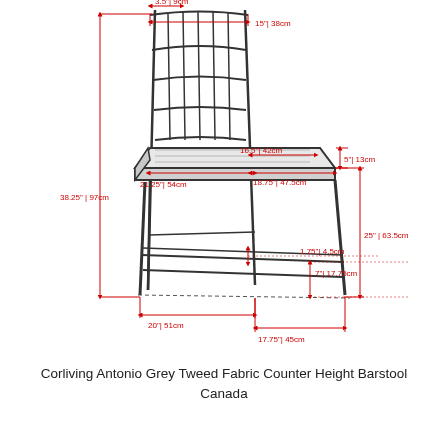[Figure (engineering-diagram): Technical line drawing of a counter height barstool shown in perspective view with red dimension lines indicating: 3.5" 9cm (back width top), 15" 38cm (back width), 16.5" 42cm (seat depth top), 5" 13cm (seat cushion height), 21.25" 54cm (seat width), 18.75" 47.5cm (seat depth), 38.25" 97cm (overall height), 25" 63.5cm (seat height from floor), 1.75" 4.5cm (footrest height), 7" 17.75cm (footrest height from floor), 20" 51cm (base depth), 17.75" 45cm (base width)]
Corliving Antonio Grey Tweed Fabric Counter Height Barstool Canada